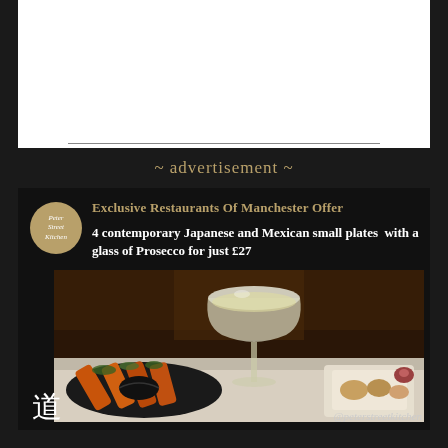~ advertisement ~
[Figure (photo): Peter Street Kitchen restaurant advertisement on dark background. Shows circular logo with 'Peter Street Kitchen' text, headline 'Exclusive Restaurants Of Manchester Offer', subtext '4 contemporary Japanese and Mexican small plates with a glass of Prosecco for just £27', food and drink photography showing a coupe glass of Prosecco and small plates of food, kanji character logo bottom left, and @peterstreetkitchen handle bottom right.]